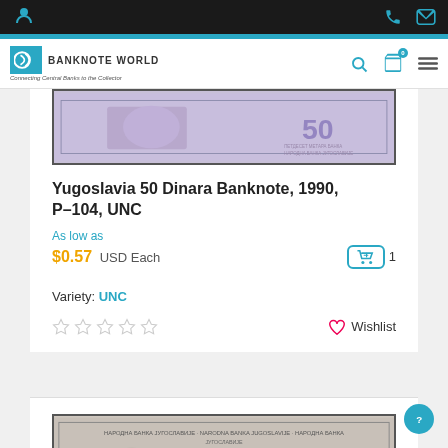Banknote World — Connecting Central Banks to the Collector
[Figure (photo): Partial view of Yugoslavia 50 Dinara banknote, top portion, showing purple/lavender coloring with the number 50]
Yugoslavia 50 Dinara Banknote, 1990, P-104, UNC
As low as
$0.57 USD Each
Variety: UNC
[Figure (photo): Partial view of Yugoslavia banknote bottom portion showing front side with text НАРОДНА БАНКА ЈУГОСЛАВИЈЕ and architectural imagery]